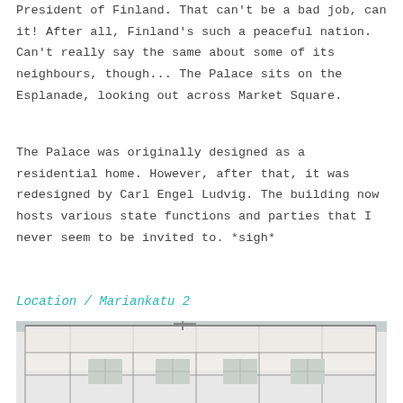President of Finland. That can't be a bad job, can it! After all, Finland's such a peaceful nation. Can't really say the same about some of its neighbours, though... The Palace sits on the Esplanade, looking out across Market Square.
The Palace was originally designed as a residential home. However, after that, it was redesigned by Carl Engel Ludvig. The building now hosts various state functions and parties that I never seem to be invited to. *sigh*
Location / Mariankatu 2
[Figure (photo): Photograph of a white building exterior under a cloudy sky, partially obscured by scaffolding and white tarp coverings. Construction or renovation work is visible.]